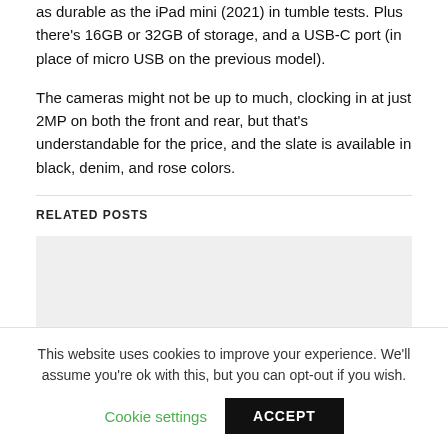as durable as the iPad mini (2021) in tumble tests. Plus there's 16GB or 32GB of storage, and a USB-C port (in place of micro USB on the previous model).
The cameras might not be up to much, clocking in at just 2MP on both the front and rear, but that's understandable for the price, and the slate is available in black, denim, and rose colors.
RELATED POSTS
[Figure (other): Grey placeholder box for related posts image]
This website uses cookies to improve your experience. We'll assume you're ok with this, but you can opt-out if you wish.